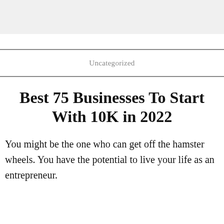Uncategorized
Best 75 Businesses To Start With 10K in 2022
You might be the one who can get off the hamster wheels. You have the potential to live your life as an entrepreneur.